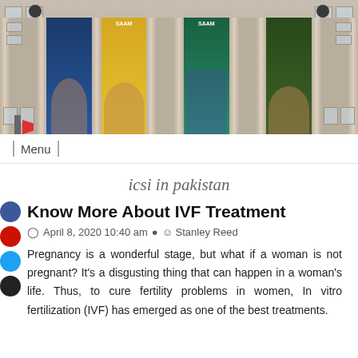[Figure (photo): Exterior photo of a large neoclassical building with columns and colorful banners/posters hanging between the pillars, including SAAM museum banners.]
Menu
icsi in pakistan
Know More About IVF Treatment
April 8, 2020 10:40 am · Stanley Reed
Pregnancy is a wonderful stage, but what if a woman is not pregnant? It's a disgusting thing that can happen in a woman's life. Thus, to cure fertility problems in women, In vitro fertilization (IVF) has emerged as one of the best treatments.